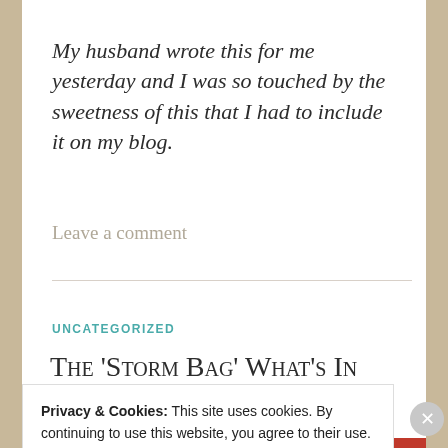My husband wrote this for me yesterday and I was so touched by the sweetness of this that I had to include it on my blog.
Leave a comment
UNCATEGORIZED
The 'Storm Bag' What's In
Privacy & Cookies: This site uses cookies. By continuing to use this website, you agree to their use.
To find out more, including how to control cookies, see here: Cookie Policy
Close and accept